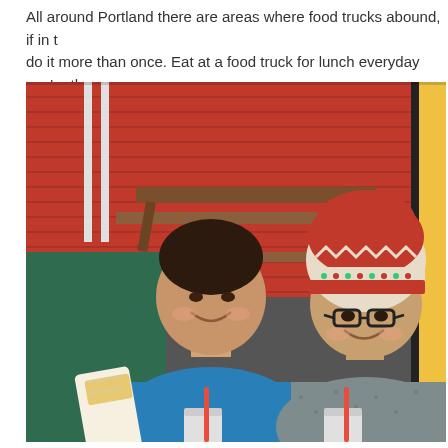All around Portland there are areas where food trucks abound, if in t do it more than once. Eat at a food truck for lunch everyday you're th
[Figure (photo): Two smiling women posing together outdoors near food trucks. The woman on the left wears a blue puffy jacket and holds a wrapped food item (like a crepe or wrap) in white paper. The woman on the right wears a colorful knitted winter hat (red, cream, and green Nordic pattern) and black-rimmed glasses, and a gray speckled jacket. Behind them is a red corrugated metal wall and wooden picnic tables. A green tarp or barrier is visible on the left. Both women have drinks with red straws in front of them.]